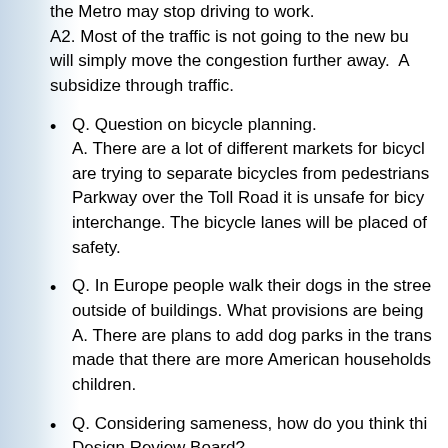the Metro may stop driving to work. A2. Most of the traffic is not going to the new bu... will simply move the congestion further away. A... subsidize through traffic.
Q. Question on bicycle planning. A. There are a lot of different markets for bicycl... are trying to separate bicycles from pedestrians... Parkway over the Toll Road it is unsafe for bicy... interchange. The bicycle lanes will be placed of... safety.
Q. In Europe people walk their dogs in the stree... outside of buildings. What provisions are being... A. There are plans to add dog parks in the trans... made that there are more American households... children.
Q. Considering sameness, how do you think thi... Design Review Board?